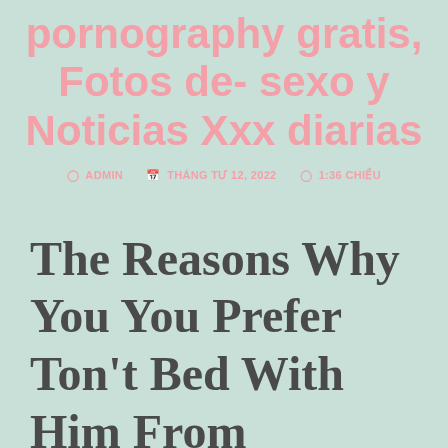pornography gratis, Fotos de- sexo y Noticias Xxx diarias
ADMIN   THÁNG TƯ 12, 2022   1:36 CHIỀU
The Reasons Why You You Prefer Ton't Bed With Him From